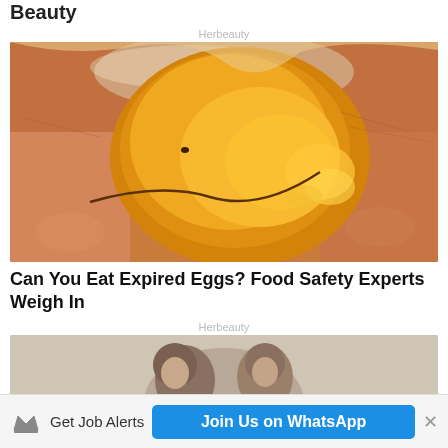Beauty
Herbeauty
[Figure (photo): Close-up of a cracked raw egg held in a person's hand, showing the yolk and egg white visible through the cracked shell]
Can You Eat Expired Eggs? Food Safety Experts Weigh In
Herbeauty
[Figure (photo): Partial view of a woman with styled hair]
Get Job Alerts  Join Us on WhatsApp  ×